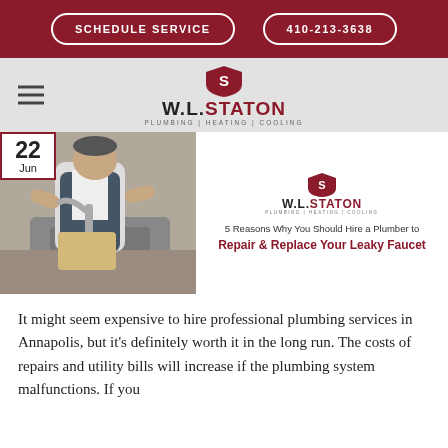SCHEDULE SERVICE | 410-213-3638
[Figure (logo): W.L. Staton Plumbing Heating Cooling logo with shield icon]
[Figure (photo): Plumber working on a kitchen sink faucet, viewed from above, with date badge showing 22 Jun]
[Figure (logo): W.L. Staton Plumbing Heating Cooling small logo]
5 Reasons Why You Should Hire a Plumber to Repair & Replace Your Leaky Faucet
It might seem expensive to hire professional plumbing services in Annapolis, but it's definitely worth it in the long run. The costs of repairs and utility bills will increase if the plumbing system malfunctions. If you